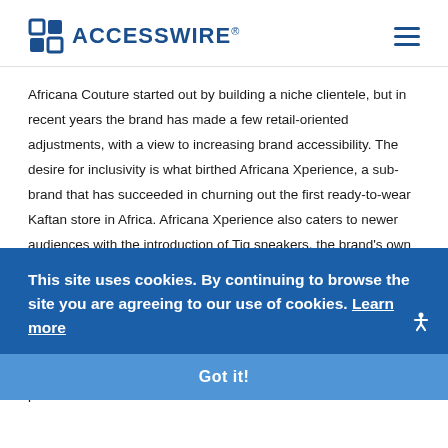ACCESSWIRE
Africana Couture started out by building a niche clientele, but in recent years the brand has made a few retail-oriented adjustments, with a view to increasing brand accessibility. The desire for inclusivity is what birthed Africana Xperience, a sub-brand that has succeeded in churning out the first ready-to-wear Kaftan store in Africa. Africana Xperience also caters to newer audiences with the introduction of Tig sneakers, the brand's own line of sneakers, while maintaining the same level of quality and unique customer experience associated with the parent brand. Africana Couture thrives on consistency, and it has the numbers to show for it. The brand has grown over $500k in revenue for a period
This site uses cookies. By continuing to browse the site you are agreeing to our use of cookies. Learn more
Got it!